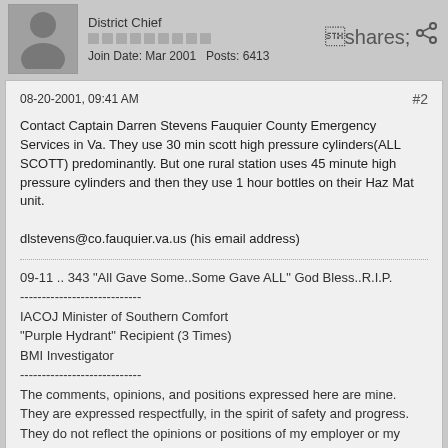[Figure (illustration): User avatar placeholder with silhouette figure, District Chief title, pip row, Join Date Mar 2001, Posts 6413, share icon]
08-20-2001, 09:41 AM
#2
Contact Captain Darren Stevens Fauquier County Emergency Services in Va. They use 30 min scott high pressure cylinders(ALL SCOTT) predominantly. But one rural station uses 45 minute high pressure cylinders and then they use 1 hour bottles on their Haz Mat unit.

dlstevens@co.fauquier.va.us (his email address)
09-11 .. 343 "All Gave Some..Some Gave ALL" God Bless..R.I.P.
----------------------------
IACOJ Minister of Southern Comfort
"Purple Hydrant" Recipient (3 Times)
BMI Investigator
----------------------------
The comments, opinions, and positions expressed here are mine. They are expressed respectfully, in the spirit of safety and progress. They do not reflect the opinions or positions of my employer or my department.
JimBeutel22
Forum Member